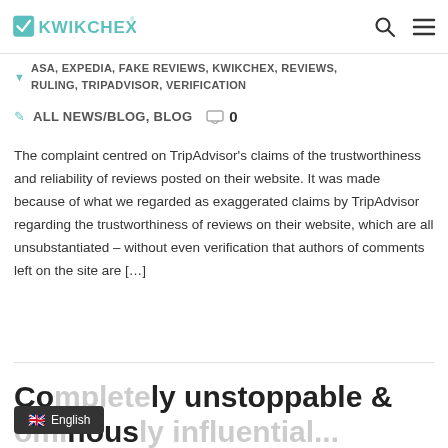KWIKCHEX
ASA, EXPEDIA, FAKE REVIEWS, KWIKCHEX, REVIEWS, RULING, TRIPADVISOR, VERIFICATION
ALL NEWS/BLOG, BLOG  0
The complaint centred on TripAdvisor's claims of the trustworthiness and reliability of reviews posted on their website. It was made because of what we regarded as exaggerated claims by TripAdvisor regarding the trustworthiness of reviews on their website, which are all unsubstantiated – without even verification that authors of comments left on the site are […]
Completely unstoppable & ominously influential...